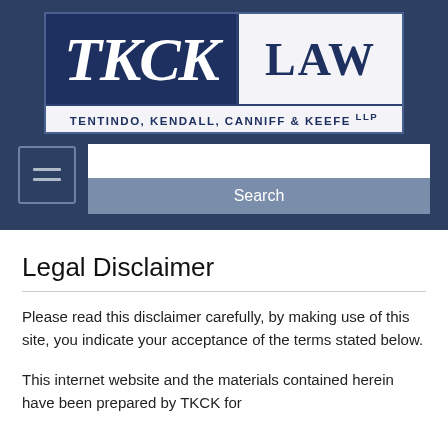[Figure (logo): TKCK LAW logo with text Tentindo, Kendall, Canniff & Keefe LLP on a dark navy and white background]
[Figure (screenshot): Navigation bar with hamburger menu icon and search box with Search button]
Legal Disclaimer
Please read this disclaimer carefully, by making use of this site, you indicate your acceptance of the terms stated below.
This internet website and the materials contained herein have been prepared by TKCK for